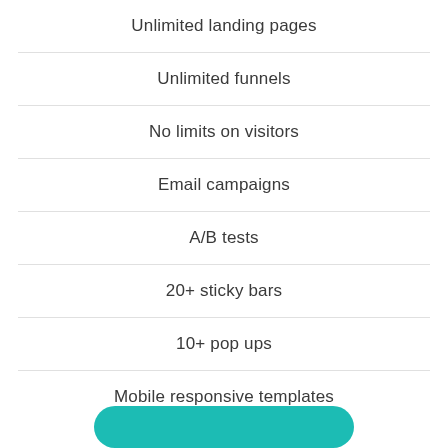Unlimited landing pages
Unlimited funnels
No limits on visitors
Email campaigns
A/B tests
20+ sticky bars
10+ pop ups
Mobile responsive templates